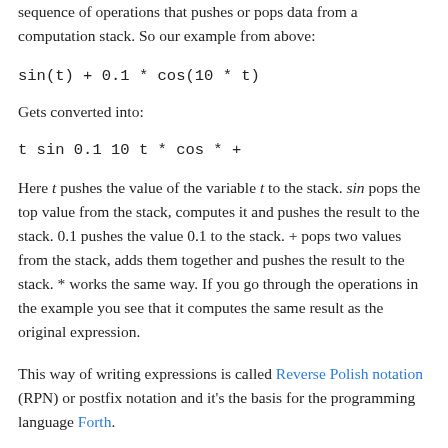sequence of operations that pushes or pops data from a computation stack. So our example from above:
sin(t) + 0.1 * cos(10 * t)
Gets converted into:
t sin 0.1 10 t * cos * +
Here t pushes the value of the variable t to the stack. sin pops the top value from the stack, computes it and pushes the result to the stack. 0.1 pushes the value 0.1 to the stack. + pops two values from the stack, adds them together and pushes the result to the stack. * works the same way. If you go through the operations in the example you see that it computes the same result as the original expression.
This way of writing expressions is called Reverse Polish notation (RPN) or postfix notation and it’s the basis for the programming language Forth.
If we examine the issue, we see that we really just need the set of f operations in a data column...